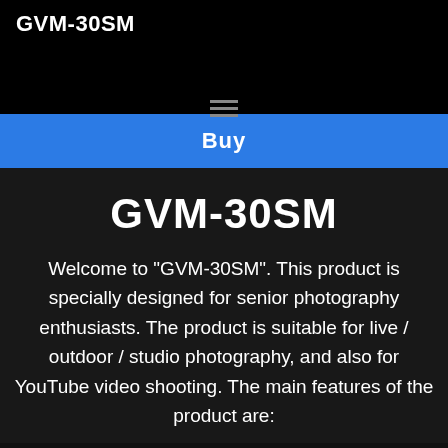GVM-30SM
[Figure (other): Hamburger menu icon (three horizontal lines)]
Buy
GVM-30SM
Welcome to "GVM-30SM". This product is specially designed for senior photography enthusiasts. The product is suitable for live / outdoor / studio photography, and also for YouTube video shooting. The main features of the product are: